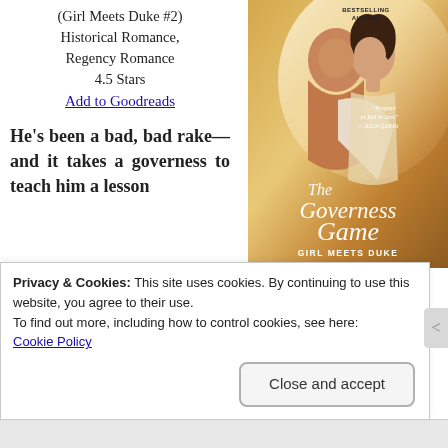(Girl Meets Duke #2)
Historical Romance,
Regency Romance
4.5 Stars
Add to Goodreads
[Figure (illustration): Book cover of 'The Governess Game' by Girl Meets Duke series, showing a romantic couple about to kiss, with text 'BESTSELLING AUTHOR', 'Prepare to fall in love' - Julia Quinn, and the title 'The Governess Game Girl Meets Duke']
He's been a bad, bad rake—and it takes a governess to teach him a lesson
The accidental governess
Privacy & Cookies: This site uses cookies. By continuing to use this website, you agree to their use.
To find out more, including how to control cookies, see here:
Cookie Policy
Close and accept